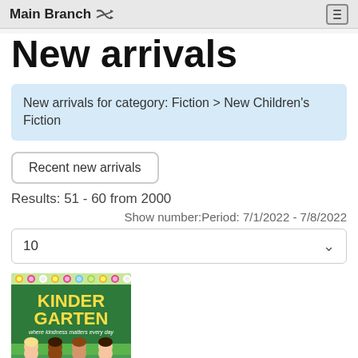Main Branch ⇌
New arrivals
New arrivals for category: Fiction > New Children's Fiction
Recent new arrivals
Results: 51 - 60 from 2000
Show number:Period: 7/1/2022 - 7/8/2022
10
[Figure (illustration): Book cover for 'Kindergarten' children's fiction book showing the title in yellow text on a green background with children illustrated at the bottom]